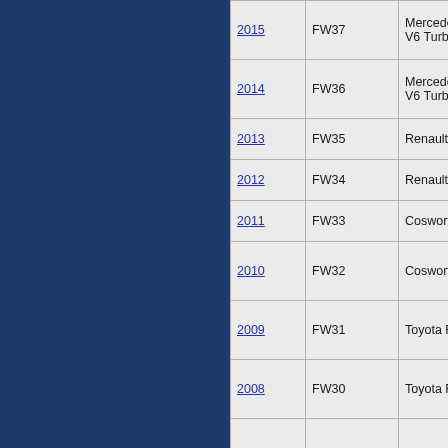| Year | Car | Engine |
| --- | --- | --- |
| 2015 | FW37 | Mercedes PU106B Hybrid V6 Turbo |
| 2014 | FW36 | Mercedes PU106A Hybrid V6 Turbo |
| 2013 | FW35 | Renault Sport RS27 V8 |
| 2012 | FW34 | Renault Sport RS27 V8 |
| 2011 | FW33 | Cosworth CA2011k V8 |
| 2010 | FW32 | Cosworth CA2010 V8 |
| 2009 | FW31 | Toyota RVX-09 V8 |
| 2008 | FW30 | Toyota RVX-08 V8 |
| 2007 | FW29 | Toyota RVX-07 V8 |
| 2006 | FW28 | Cosworth CA2000 V8 |
| 2005 | FW27 | BMW P84/5 V10 |
| 2004 | FW26 | BMW P84 V10 |
| 2003 | FW25 | BMW P83 V10 |
| 2002 | FW24 | BMW P82 V10 |